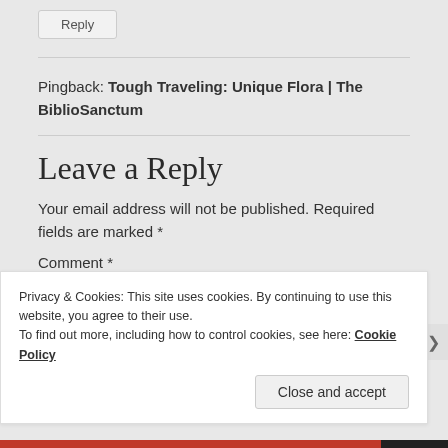Reply
Pingback: Tough Traveling: Unique Flora | The BiblioSanctum
Leave a Reply
Your email address will not be published. Required fields are marked *
Comment *
Privacy & Cookies: This site uses cookies. By continuing to use this website, you agree to their use.
To find out more, including how to control cookies, see here: Cookie Policy
Close and accept